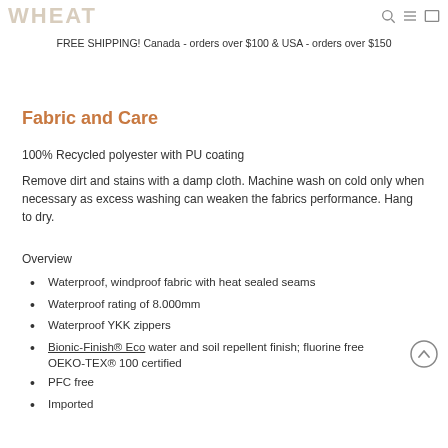WHEAT
FREE SHIPPING! Canada - orders over $100 & USA - orders over $150
Fabric and Care
100% Recycled polyester with PU coating
Remove dirt and stains with a damp cloth. Machine wash on cold only when necessary as excess washing can weaken the fabrics performance. Hang to dry.
Overview
Waterproof, windproof fabric with heat sealed seams
Waterproof rating of 8.000mm
Waterproof YKK zippers
Bionic-Finish® Eco water and soil repellent finish; fluorine free
OEKO-TEX® 100 certified
PFC free
Imported